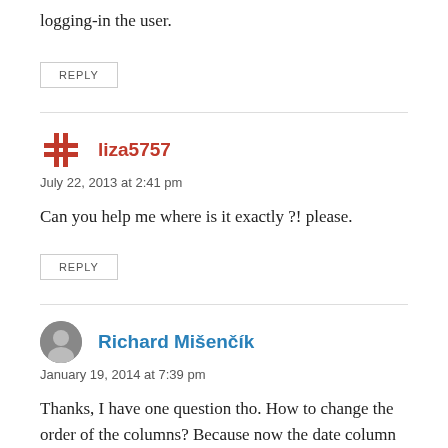logging-in the user.
REPLY
liza5757
July 22, 2013 at 2:41 pm
Can you help me where is it exactly ?! please.
REPLY
Richard Mišenčík
January 19, 2014 at 7:39 pm
Thanks, I have one question tho. How to change the order of the columns? Because now the date column is first and my custom columns are after